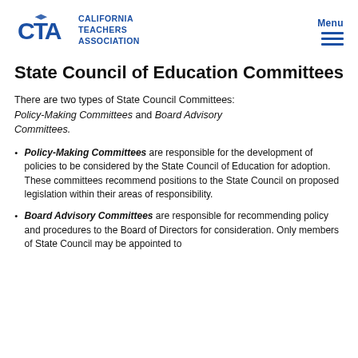CTA California Teachers Association | Menu
State Council of Education Committees
There are two types of State Council Committees: Policy-Making Committees and Board Advisory Committees.
Policy-Making Committees are responsible for the development of policies to be considered by the State Council of Education for adoption. These committees recommend positions to the State Council on proposed legislation within their areas of responsibility.
Board Advisory Committees are responsible for recommending policy and procedures to the Board of Directors for consideration. Only members of State Council may be appointed to